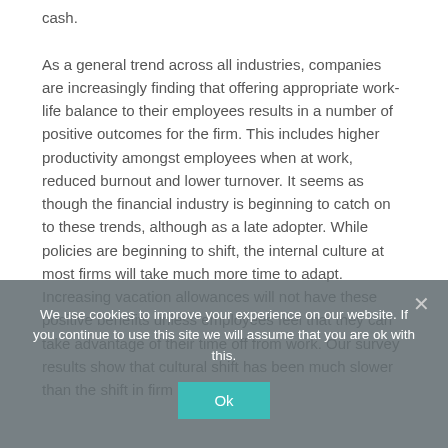cash. As a general trend across all industries, companies are increasingly finding that offering appropriate work-life balance to their employees results in a number of positive outcomes for the firm. This includes higher productivity amongst employees when at work, reduced burnout and lower turnover. It seems as though the financial industry is beginning to catch on to these trends, although as a late adopter. While policies are beginning to shift, the internal culture at most firms will take much more time to adapt. Increasing vacation allowances will not have these positive benefits unless employees feel that they can take advantage of their time off from work. Our survey results show that cultural shift has been much slower than the shift in firm policy.
We use cookies to improve your experience on our website. If you continue to use this site we will assume that you are ok with this.